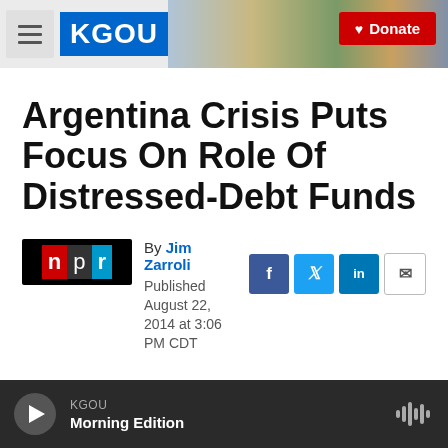KGOU — Donate
Argentina Crisis Puts Focus On Role Of Distressed-Debt Funds
By Jim Zarroli
Published August 22, 2014 at 3:06 PM CDT
KGOU Morning Edition